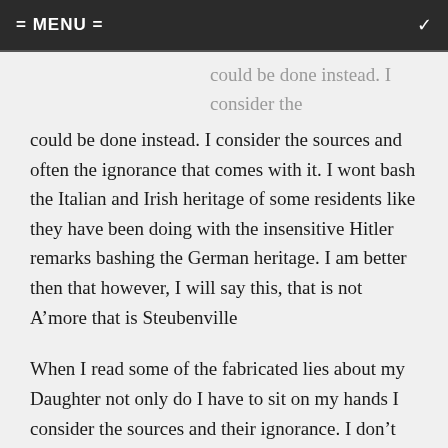= MENU =
could be done instead. I consider the sources and often the ignorance that comes with it. I wont bash the Italian and Irish heritage of some residents like they have been doing with the insensitive Hitler remarks bashing the German heritage. I am better then that however, I will say this, that is not A’more that is Steubenville
When I read some of the fabricated lies about my Daughter not only do I have to sit on my hands I consider the sources and their ignorance. I don’t have to speak for my Daughter she can take care of herself. All I can say is this for you that know it ALL where is the PROOF I will